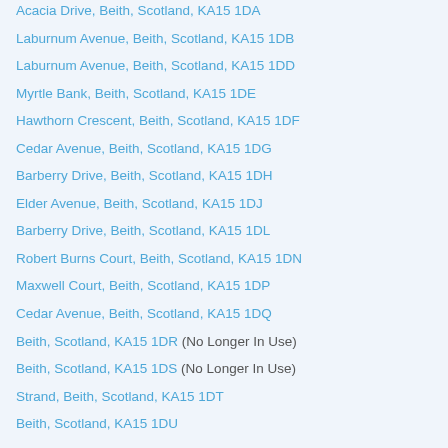Acacia Drive, Beith, Scotland, KA15 1DA
Laburnum Avenue, Beith, Scotland, KA15 1DB
Laburnum Avenue, Beith, Scotland, KA15 1DD
Myrtle Bank, Beith, Scotland, KA15 1DE
Hawthorn Crescent, Beith, Scotland, KA15 1DF
Cedar Avenue, Beith, Scotland, KA15 1DG
Barberry Drive, Beith, Scotland, KA15 1DH
Elder Avenue, Beith, Scotland, KA15 1DJ
Barberry Drive, Beith, Scotland, KA15 1DL
Robert Burns Court, Beith, Scotland, KA15 1DN
Maxwell Court, Beith, Scotland, KA15 1DP
Cedar Avenue, Beith, Scotland, KA15 1DQ
Beith, Scotland, KA15 1DR (No Longer In Use)
Beith, Scotland, KA15 1DS (No Longer In Use)
Strand, Beith, Scotland, KA15 1DT
Beith, Scotland, KA15 1DU